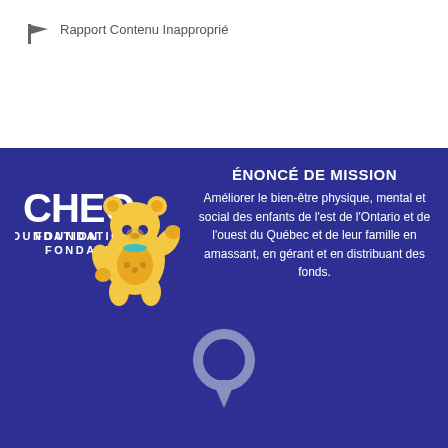Rapport Contenu Inapproprié
[Figure (logo): CHEO Foundation Fondation logo with yellow teddy bear mascot]
ÉNONCÉ DE MISSION
Améliorer le bien-être physique, mental et social des enfants de l'est de l'Ontario et de l'ouest du Québec et de leur famille en amassant, en gérant et en distribuant des fonds.
[Figure (illustration): Light gray location pin / map marker icon at bottom of blue section]